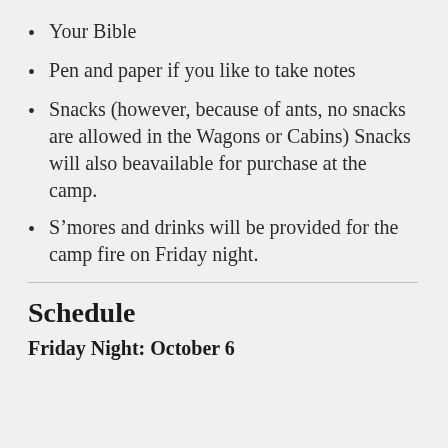Your Bible
Pen and paper if you like to take notes
Snacks (however, because of ants, no snacks are allowed in the Wagons or Cabins) Snacks will also beavailable for purchase at the camp.
S’mores and drinks will be provided for the camp fire on Friday night.
Schedule
Friday Night: October 6